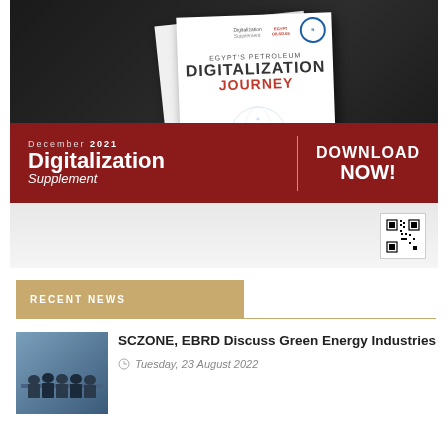[Figure (illustration): Magazine cover for 'Egypt's Petroleum Digitalization Journey - Digitalization Supplement December 2021' with a dark background. The magazine cover shows the title in large text. A red banner overlay reads 'December 2021 Digitalization Supplement | DOWNLOAD NOW!' with a QR code visible at the bottom right of the image.]
RECENT NEWS
[Figure (photo): Thumbnail photo of people seated at a conference table, appearing to be officials or delegates at a meeting.]
SCZONE, EBRD Discuss Green Energy Industries
Tuesday, 23 August 2022